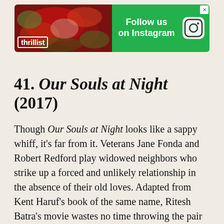[Figure (screenshot): Thrillist advertisement banner with food background image on left, 'Follow us on Instagram' text and Instagram icon on green background, with close button]
41. Our Souls at Night (2017)
Though Our Souls at Night looks like a sappy whiff, it's far from it. Veterans Jane Fonda and Robert Redford play widowed neighbors who strike up a forced and unlikely relationship in the absence of their old loves. Adapted from Kent Haruf's book of the same name, Ritesh Batra's movie wastes no time throwing the pair into the awkwardness of getting to know each other ("Pretty cold for spring, huh?"), the strange optics of being together in public